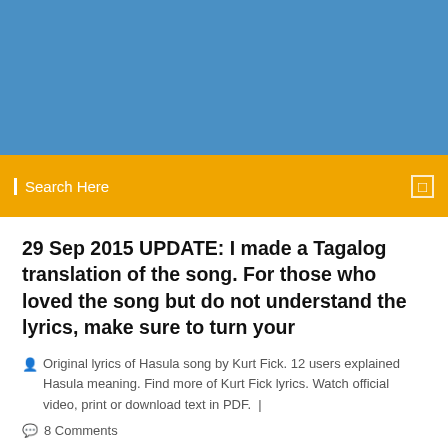[Figure (other): Blue header banner area]
Search Here
29 Sep 2015 UPDATE: I made a Tagalog translation of the song. For those who loved the song but do not understand the lyrics, make sure to turn your
Original lyrics of Hasula song by Kurt Fick. 12 users explained Hasula meaning. Find more of Kurt Fick lyrics. Watch official video, print or download text in PDF.  |
8 Comments